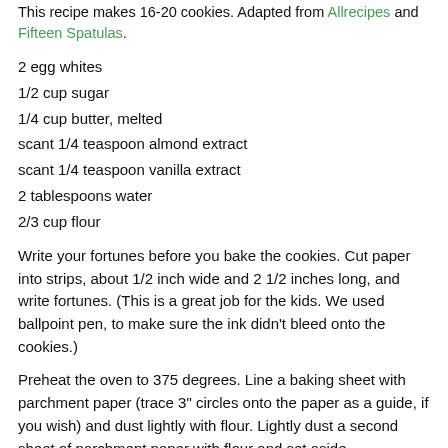This recipe makes 16-20 cookies. Adapted from Allrecipes and Fifteen Spatulas.
2 egg whites
1/2 cup sugar
1/4 cup butter, melted
scant 1/4 teaspoon almond extract
scant 1/4 teaspoon vanilla extract
2 tablespoons water
2/3 cup flour
Write your fortunes before you bake the cookies. Cut paper into strips, about 1/2 inch wide and 2 1/2 inches long, and write fortunes. (This is a great job for the kids. We used ballpoint pen, to make sure the ink didn't bleed onto the cookies.)
Preheat the oven to 375 degrees. Line a baking sheet with parchment paper (trace 3" circles onto the paper as a guide, if you wish) and dust lightly with flour. Lightly dust a second sheet of parchment paper with flour and set aside.
In a medium bowl, whisk the egg whites and sugar until...